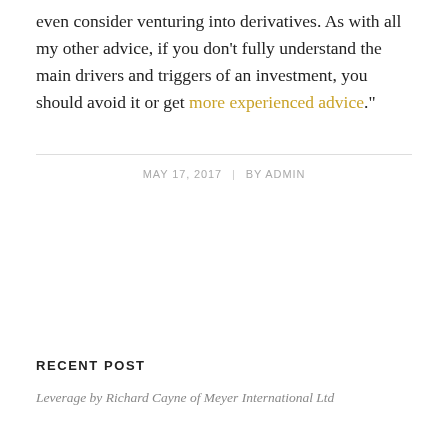even consider venturing into derivatives. As with all my other advice, if you don't fully understand the main drivers and triggers of an investment, you should avoid it or get more experienced advice.”
MAY 17, 2017   BY ADMIN
RECENT POST
Leverage by Richard Cayne of Meyer International Ltd